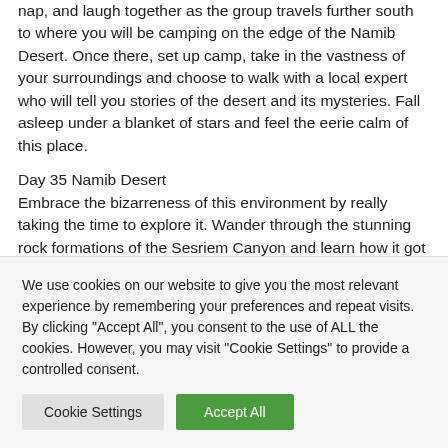nap, and laugh together as the group travels further south to where you will be camping on the edge of the Namib Desert. Once there, set up camp, take in the vastness of your surroundings and choose to walk with a local expert who will tell you stories of the desert and its mysteries. Fall asleep under a blanket of stars and feel the eerie calm of this place.
Day 35 Namib Desert
Embrace the bizarreness of this environment by really taking the time to explore it. Wander through the stunning rock formations of the Sesriem Canyon and learn how it got its
We use cookies on our website to give you the most relevant experience by remembering your preferences and repeat visits. By clicking "Accept All", you consent to the use of ALL the cookies. However, you may visit "Cookie Settings" to provide a controlled consent.